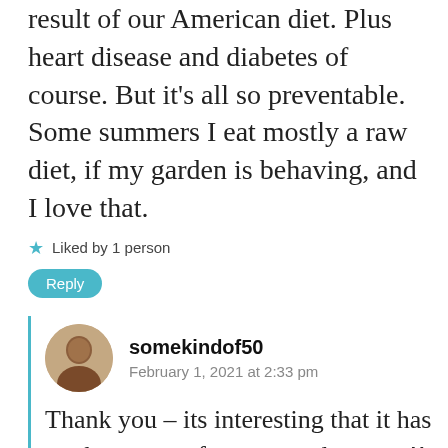result of our American diet. Plus heart disease and diabetes of course. But it's all so preventable. Some summers I eat mostly a raw diet, if my garden is behaving, and I love that.
★ Liked by 1 person
Reply
somekindof50
February 1, 2021 at 2:33 pm
Thank you – its interesting that it has not been one of most popular posts!! I think people find the subject quite uncomfortable – even though I made sure not to make it a post about animal cruelty. A little meat isn't